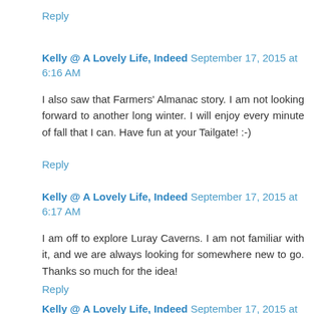Reply
Kelly @ A Lovely Life, Indeed September 17, 2015 at 6:16 AM
I also saw that Farmers' Almanac story. I am not looking forward to another long winter. I will enjoy every minute of fall that I can. Have fun at your Tailgate! :-)
Reply
Kelly @ A Lovely Life, Indeed September 17, 2015 at 6:17 AM
I am off to explore Luray Caverns. I am not familiar with it, and we are always looking for somewhere new to go. Thanks so much for the idea!
Reply
Kelly @ A Lovely Life, Indeed September 17, 2015 at